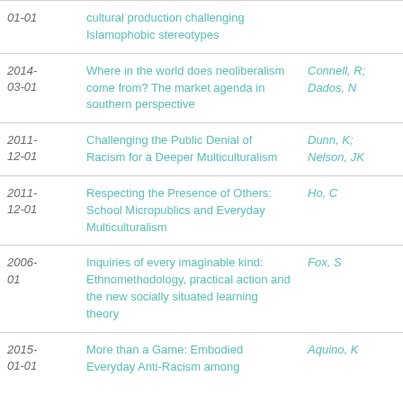| Date | Title | Author |
| --- | --- | --- |
| 01-01 | cultural production challenging Islamophobic stereotypes |  |
| 2014-03-01 | Where in the world does neoliberalism come from? The market agenda in southern perspective | Connell, R; Dados, N |
| 2011-12-01 | Challenging the Public Denial of Racism for a Deeper Multiculturalism | Dunn, K; Nelson, JK |
| 2011-12-01 | Respecting the Presence of Others: School Micropublics and Everyday Multiculturalism | Ho, C |
| 2006-01 | Inquiries of every imaginable kind: Ethnomethodology, practical action and the new socially situated learning theory | Fox, S |
| 2015-01-01 | More than a Game: Embodied Everyday Anti-Racism among | Aquino, K |